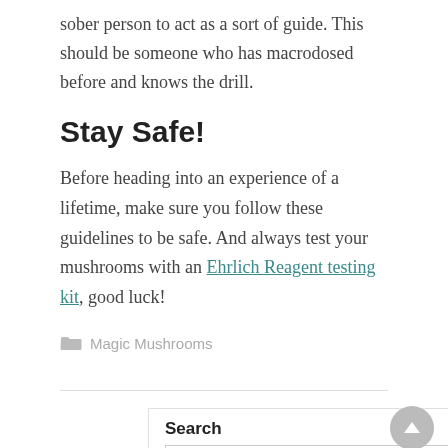sober person to act as a sort of guide. This should be someone who has macrodosed before and knows the drill.
Stay Safe!
Before heading into an experience of a lifetime, make sure you follow these guidelines to be safe. And always test your mushrooms with an Ehrlich Reagent testing kit, good luck!
Magic Mushrooms
Search